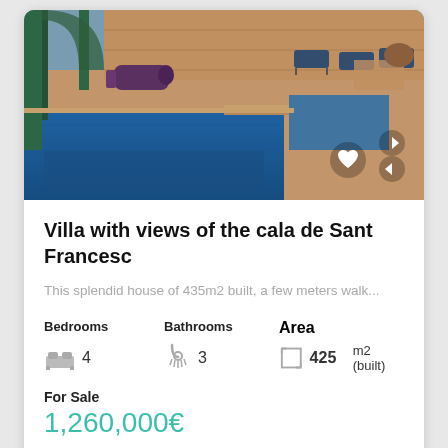[Figure (photo): Outdoor swimming pool area with blue water, lounge chairs, wooden deck, and covered patio structures in warm stone tones]
Villa with views of the cala de Sant Francesc
This splendid house of 435m2 built, a few meters walk...
Bedrooms 4  Bathrooms 3  Area 425 m2 (built)
For Sale
1,260,000€